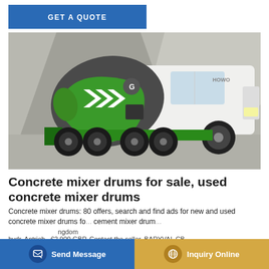[Figure (other): Blue 'GET A QUOTE' button banner]
[Figure (photo): A green and white HOWO concrete mixer truck (cement mixer) photographed against a grey concrete background]
Concrete mixer drums for sale, used concrete mixer drums
Concrete mixer drums: 80 offers, search and find ads for new and used concrete mixer drums for sale, cement mixer drum ... kingdom hydr. Antrieb . €2,900 GBP. Contact the seller. BARYVAL CB .
[Figure (other): Bottom bar with 'Send Message' button (blue) and 'Inquiry Online' button (golden/tan)]